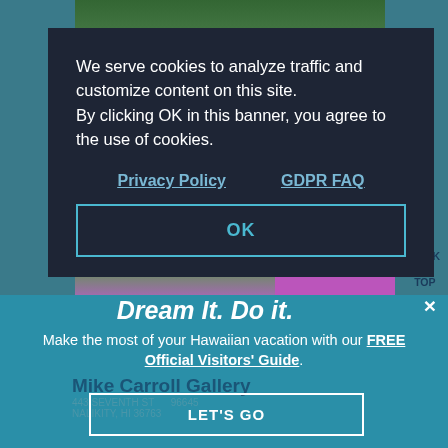[Figure (screenshot): Website screenshot showing a cookie consent modal overlaid on a Hawaiian travel website. The modal has a dark navy background with white text about cookies policy, Privacy Policy and GDPR FAQ links, and an OK button. Below is a teal banner with 'Dream It. Do it.' headline, Hawaiian vacation promotional text with FREE Official Visitors' Guide link, a LET'S GO button, and Mike Carroll Gallery listing.]
We serve cookies to analyze traffic and customize content on this site. By clicking OK in this banner, you agree to the use of cookies.
Privacy Policy    GDPR FAQ
OK
BACK TO TOP
Dream It. Do it.
Make the most of your Hawaiian vacation with our FREE Official Visitors' Guide.
Mike Carroll Gallery
LET'S GO
443 SEVENTH ST    96645
NALIKITY, HI 36763